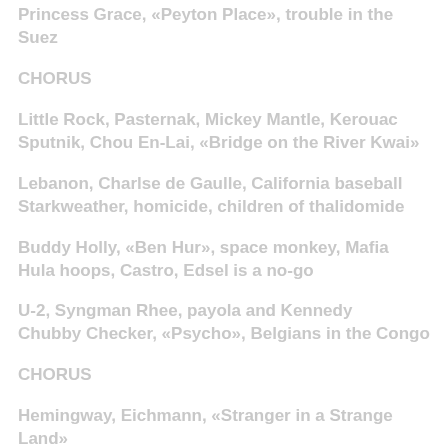Princess Grace, «Peyton Place», trouble in the Suez
CHORUS
Little Rock, Pasternak, Mickey Mantle, Kerouac
Sputnik, Chou En-Lai, «Bridge on the River Kwai»
Lebanon, Charlse de Gaulle, California baseball
Starkweather, homicide, children of thalidomide
Buddy Holly, «Ben Hur», space monkey, Mafia
Hula hoops, Castro, Edsel is a no-go
U-2, Syngman Rhee, payola and Kennedy
Chubby Checker, «Psycho», Belgians in the Congo
CHORUS
Hemingway, Eichmann, «Stranger in a Strange Land»